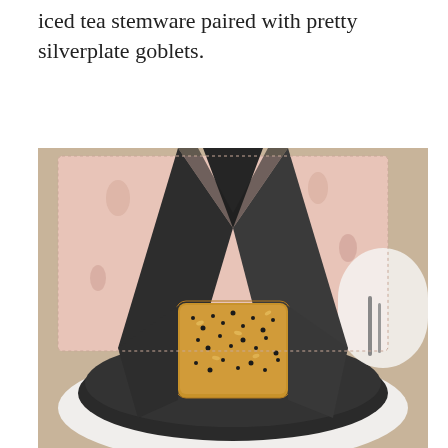iced tea stemware paired with pretty silverplate goblets.
[Figure (photo): A seeded bread or roll wrapped in a dark charcoal/black linen napkin, folded elegantly upward, placed in a dark round bowl. The table setting features a pink patterned placemat with animal prints, a white plate, and silverware visible in the background.]